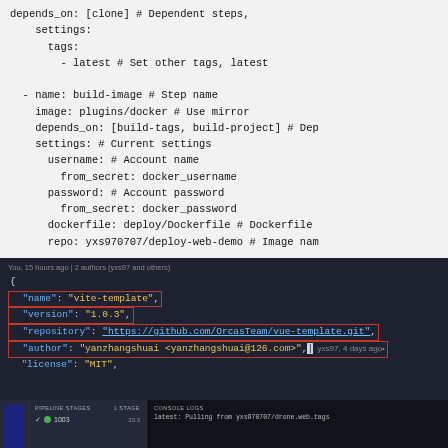depends_on: [clone] # Dependent steps,
    settings:
      tags:
        - latest # Set other tags, latest

  - name: build-image # Step name
    image: plugins/docker # Use mirror
    depends_on: [build-tags, build-project] # Dep
    settings: # Current settings
      username: # Account name
        from_secret: docker_username
      password: # Account password
        from_secret: docker_password
      dockerfile: deploy/Dockerfile # Dockerfile
      repo: yxs970707/deploy-web-demo # Image nam
[Figure (screenshot): Dark-themed code editor screenshot showing a JSON/package.json file with fields: name, version, repository, author, license. Some lines highlighted with a red border box. Meta info shows '15 hours ago | 2 authors (yxs97 and others)'.]
[Figure (screenshot): Dark-themed CI/CD pipeline interface split into two panes: left pane shows 'PIPELINE STAGES' with a green dot and '1 step', right pane shows 'CONSOLE LOGS' with build output text 'latest: Pulling from yxs970707/drone.web.tags'.]